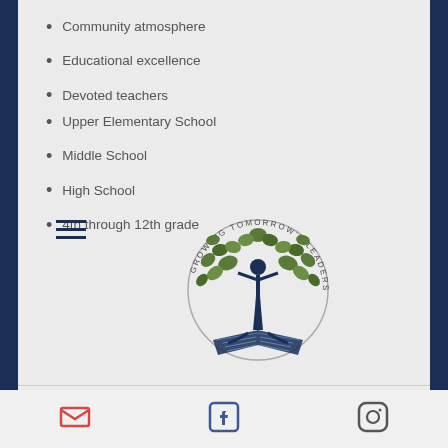Community atmosphere
Educational excellence
Devoted teachers
Upper Elementary School
Middle School
High School
4th through 12th grade
[Figure (logo): Classical Scholars school logo — circular emblem with a tree made of people figures and leaves, text 'GROWING TOMORROW'S LEADERS' around the circle, an open book at the base, and 'CLASSICAL SCHOLARS' in large navy letters below]
[Figure (infographic): Footer social media icons: email (envelope), Facebook, Instagram]